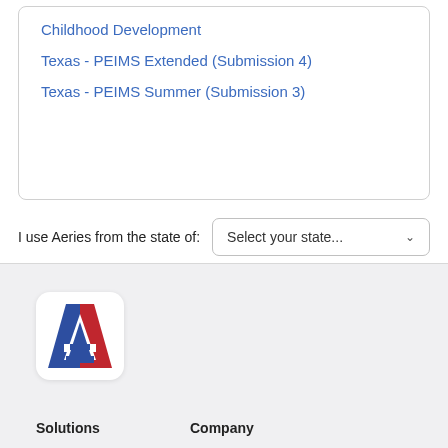Childhood Development
Texas - PEIMS Extended (Submission 4)
Texas - PEIMS Summer (Submission 3)
I use Aeries from the state of:
Select your state...
[Figure (logo): Aeries logo: white rounded square background with a large letter A in blue and red]
Solutions
Company